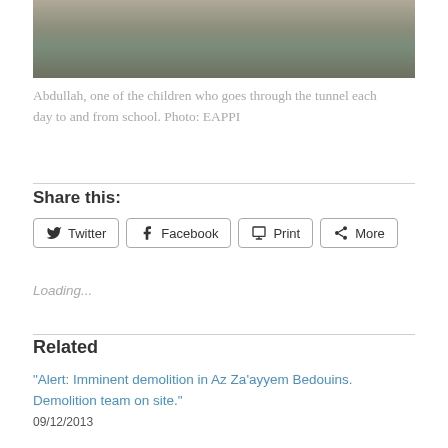[Figure (photo): Partial photograph showing lower portion of a person standing outdoors, cropped at the top]
Abdullah, one of the children who goes through the tunnel each day to and from school. Photo: EAPPI
Share this:
Twitter  Facebook  Print  More
Loading...
Related
"Alert: Imminent demolition in Az Za'ayyem Bedouins. Demolition team on site."
09/12/2013